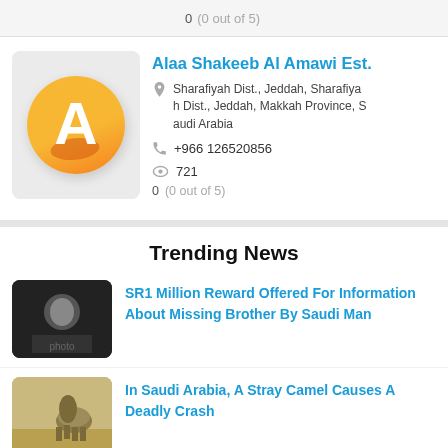0  (0 out of 5)
Alaa Shakeeb Al Amawi Est.
Sharafiyah Dist., Jeddah, Sharafiyah Dist., Jeddah, Makkah Province, Saudi Arabia
+966 126520856
721
0  (0 out of 5)
Trending News
SR1 Million Reward Offered For Information About Missing Brother By Saudi Man
In Saudi Arabia, A Stray Camel Causes A Deadly Crash
Visit Visas For Children Can Become IQamas In Saudi Arabia